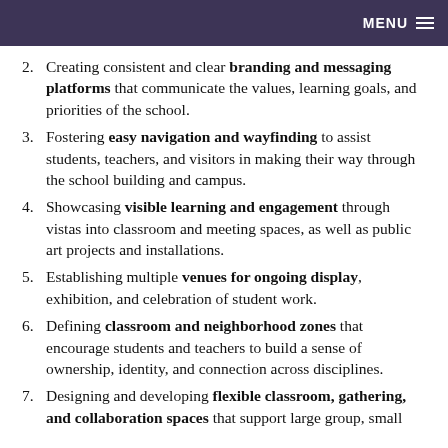MENU
2. Creating consistent and clear branding and messaging platforms that communicate the values, learning goals, and priorities of the school.
3. Fostering easy navigation and wayfinding to assist students, teachers, and visitors in making their way through the school building and campus.
4. Showcasing visible learning and engagement through vistas into classroom and meeting spaces, as well as public art projects and installations.
5. Establishing multiple venues for ongoing display, exhibition, and celebration of student work.
6. Defining classroom and neighborhood zones that encourage students and teachers to build a sense of ownership, identity, and connection across disciplines.
7. Designing and developing flexible classroom, gathering, and collaboration spaces that support large group, small…